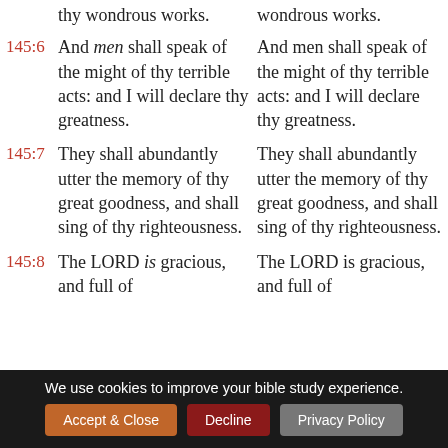thy wondrous works. | wondrous works.
145:6 And men shall speak of the might of thy terrible acts: and I will declare thy greatness. | And men shall speak of the might of thy terrible acts: and I will declare thy greatness.
145:7 They shall abundantly utter the memory of thy great goodness, and shall sing of thy righteousness. | They shall abundantly utter the memory of thy great goodness, and shall sing of thy righteousness.
145:8 The LORD is gracious, and full of | The LORD is gracious, and full of
We use cookies to improve your bible study experience.
Accept & Close | Decline | Privacy Policy